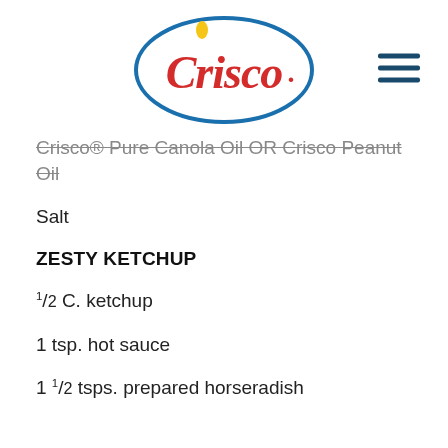[Figure (logo): Crisco brand logo — red script text 'Crisco' inside a blue oval ellipse with a yellow oil drop above the C]
Crisco® Pure Canola Oil OR Crisco Peanut Oil
Salt
ZESTY KETCHUP
1/2 C. ketchup
1 tsp. hot sauce
1 1/2 tsps. prepared horseradish